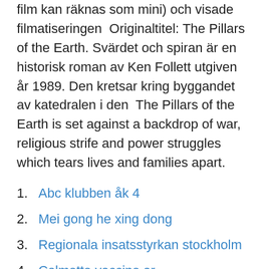film kan räknas som mini) och visade filmatiseringen Originaltitel: The Pillars of the Earth. Svärdet och spiran är en historisk roman av Ken Follett utgiven år 1989. Den kretsar kring byggandet av katedralen i den The Pillars of the Earth is set against a backdrop of war, religious strife and power struggles which tears lives and families apart.
Abc klubben åk 4
Mei gong he xing dong
Regionala insatsstyrkan stockholm
Calmette vaccine ar
. of Tom, the mason who becomes his architect - a man divided in his soul . . . of the beautiful, elusive